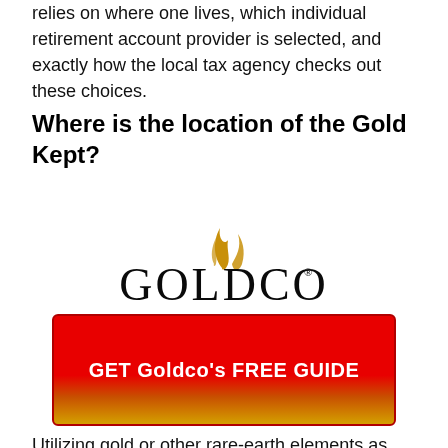relies on where one lives, which individual retirement account provider is selected, and exactly how the local tax agency checks out these choices.
Where is the location of the Gold Kept?
[Figure (logo): Goldco logo with golden flame swoosh above the text GOLDCO in large serif letters with a registered trademark symbol]
[Figure (infographic): Red-to-gold gradient CTA button with white bold text reading GET Goldco's FREE GUIDE]
Utilizing gold or other rare-earth elements as part of an IRA is a valid alternative. For the